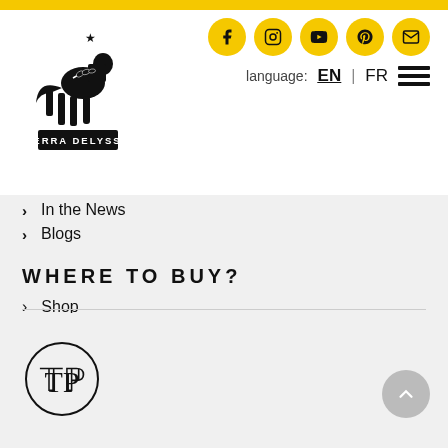[Figure (logo): Terra Delyssa logo with black horse and wheat branch, text TERRA DELYSSA on banner]
[Figure (infographic): Social media icons in yellow circles: Facebook, Instagram, YouTube, Pinterest, Email]
language: EN | FR
> In the News
> Blogs
WHERE TO BUY?
> Shop
STORE LOCATOR
[Figure (logo): Circular monogram logo with T and D intertwined letters]